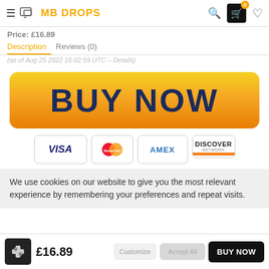MB DROPS
Price: £16.89
Description   Reviews (0)
(as of Aug 25 2022 15:02:59 UTC – Details)
[Figure (other): Large yellow-orange gradient BUY NOW button with dark blue bold text]
[Figure (other): Payment method icons: VISA, MasterCard, AMEX, Discover Network]
We use cookies on our website to give you the most relevant experience by remembering your preferences and repeat visits.
£16.89   BUY NOW